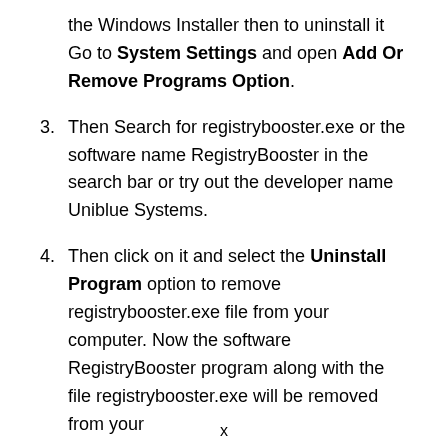the Windows Installer then to uninstall it Go to System Settings and open Add Or Remove Programs Option.
3. Then Search for registrybooster.exe or the software name RegistryBooster in the search bar or try out the developer name Uniblue Systems.
4. Then click on it and select the Uninstall Program option to remove registrybooster.exe file from your computer. Now the software RegistryBooster program along with the file registrybooster.exe will be removed from your
x